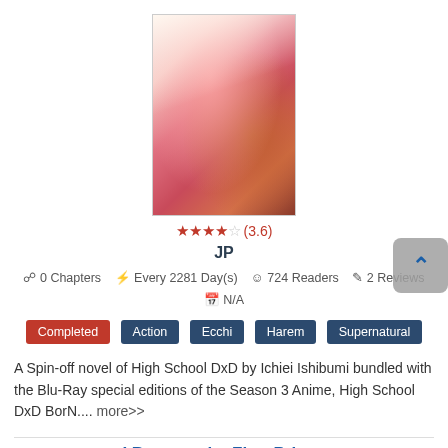[Figure (illustration): Manga/light novel cover art showing anime characters with red hair on a pink/red background]
★★★★☆ (3.6)
JP
📋 0 Chapters  ⚡ Every 2281 Day(s)  👤 724 Readers  📝 2 Reviews  📅 N/A
Completed
Action
Ecchi
Harem
Supernatural
A Spin-off novel of High School DxD by Ichiei Ishibumi bundled with the Blu-Ray special editions of the Season 3 Anime, High School DxD BorN.... more>>
I Became the First Prince
[Figure (illustration): Manga cover art showing an anime character with dark purple tones]